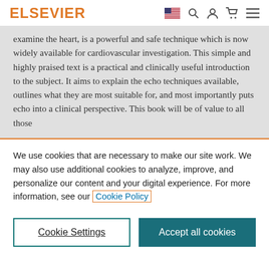ELSEVIER
examine the heart, is a powerful and safe technique which is now widely available for cardiovascular investigation. This simple and highly praised text is a practical and clinically useful introduction to the subject. It aims to explain the echo techniques available, outlines what they are most suitable for, and most importantly puts echo into a clinical perspective. This book will be of value to all those
We use cookies that are necessary to make our site work. We may also use additional cookies to analyze, improve, and personalize our content and your digital experience. For more information, see our Cookie Policy
Cookie Settings
Accept all cookies